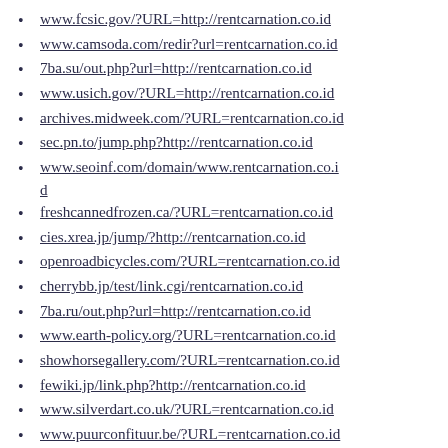www.fcsic.gov/?URL=http://rentcarnation.co.id
www.camsoda.com/redir?url=rentcarnation.co.id
7ba.su/out.php?url=http://rentcarnation.co.id
www.usich.gov/?URL=http://rentcarnation.co.id
archives.midweek.com/?URL=rentcarnation.co.id
sec.pn.to/jump.php?http://rentcarnation.co.id
www.seoinf.com/domain/www.rentcarnation.co.id
freshcannedfrozen.ca/?URL=rentcarnation.co.id
cies.xrea.jp/jump/?http://rentcarnation.co.id
openroadbicycles.com/?URL=rentcarnation.co.id
cherrybb.jp/test/link.cgi/rentcarnation.co.id
7ba.ru/out.php?url=http://rentcarnation.co.id
www.earth-policy.org/?URL=rentcarnation.co.id
showhorsegallery.com/?URL=rentcarnation.co.id
fewiki.jp/link.php?http://rentcarnation.co.id
www.silverdart.co.uk/?URL=rentcarnation.co.id
www.puurconfituur.be/?URL=rentcarnation.co.id
www.onesky.ca/?URL=http://rentcarnation.co.id